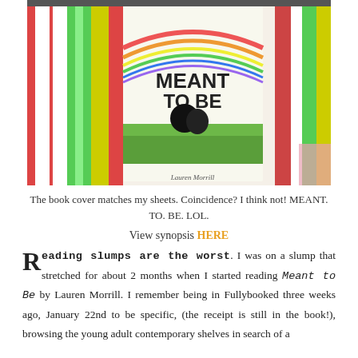[Figure (photo): Photo of the book 'Meant to Be' by Lauren Morrill with colorful striped background matching bedsheets]
The book cover matches my sheets. Coincidence? I think not! MEANT. TO. BE. LOL.
View synopsis HERE
Reading slumps are the worst. I was on a slump that stretched for about 2 months when I started reading Meant to Be by Lauren Morrill. I remember being in Fullybooked three weeks ago, January 22nd to be specific, (the receipt is still in the book!), browsing the young adult contemporary shelves in search of a